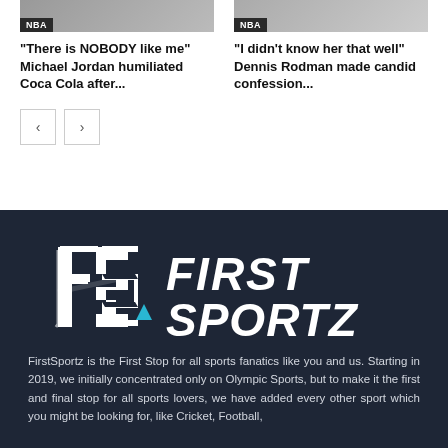[Figure (photo): NBA article thumbnail image left]
“There is NOBODY like me” Michael Jordan humiliated Coca Cola after...
[Figure (photo): NBA article thumbnail image right]
“I didn’t know her that well” Dennis Rodman made candid confession...
[Figure (logo): FirstSportz logo on dark background]
FirstSportz is the First Stop for all sports fanatics like you and us. Starting in 2019, we initially concentrated only on Olympic Sports, but to make it the first and final stop for all sports lovers, we have added every other sport which you might be looking for, like Cricket, Football,